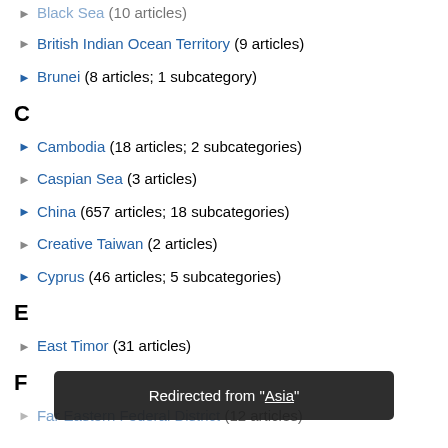Black Sea (10 articles)
British Indian Ocean Territory (9 articles)
Brunei (8 articles; 1 subcategory)
C
Cambodia (18 articles; 2 subcategories)
Caspian Sea (3 articles)
China (657 articles; 18 subcategories)
Creative Taiwan (2 articles)
Cyprus (46 articles; 5 subcategories)
E
East Timor (31 articles)
F
Far Eastern Federal District (12 articles)
Redirected from "Asia"